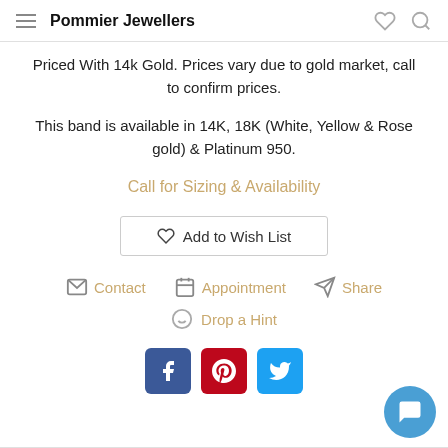Pommier Jewellers
Priced With 14k Gold. Prices vary due to gold market, call to confirm prices.
This band is available in 14K, 18K (White, Yellow & Rose gold) & Platinum 950.
Call for Sizing & Availability
Add to Wish List
Contact   Appointment   Share
Drop a Hint